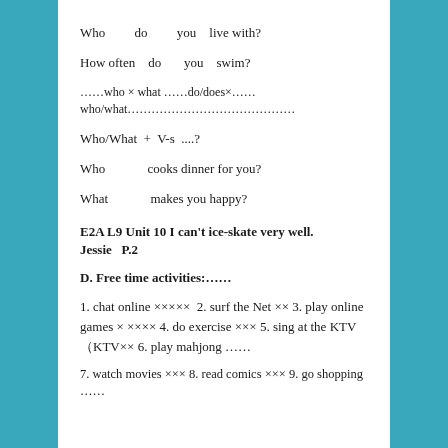Who        do        you    live with?
How often    do        you    swim?
……who × what ……do/does×……who/what……………………
Who/What  +  V-s  ....?
Who             cooks dinner for you?
What              makes you happy?
E2A L9 Unit 10 I can't ice-skate very well.         Jessie  P.2
D. Free time activities:……
1. chat online ×××××  2. surf the Net ×× 3. play online games × ×××× 4. do exercise ××× 5. sing at the KTV （KTV×× 6. play mahjong ……